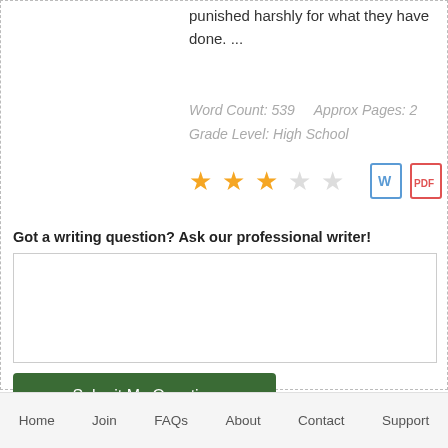punished harshly for what they have done. ...
Word Count: 539     Approx Pages: 2
Grade Level: High School
[Figure (other): 3 filled gold stars and 2 empty stars rating, plus Word doc icon, PDF icon, and save icon]
Got a writing question? Ask our professional writer!
[text area input box]
Submit My Question
Home   Join   FAQs   About   Contact   Support